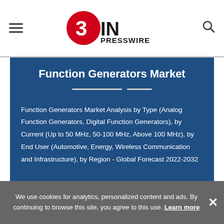EIN Presswire — Everyone's Internet News Presswire
Function Generators Market
Function Generators Market Analysis by Type (Analog Function Generators, Digital Function Generators), by Current (Up to 50 MHz, 50-100 MHz, Above 100 MHz), by End User (Automotive, Energy, Wireless Communication and Infrastructure), by Region - Global Forecast 2022-2032
We use cookies for analytics, personalized content and ads. By continuing to browse this site, you agree to this use. Learn more